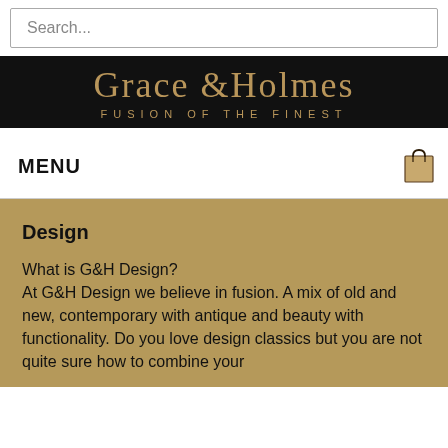Search...
[Figure (logo): Grace & Holmes - Fusion of the Finest logo, gold text on black background]
MENU
[Figure (illustration): Shopping bag icon]
Design
What is G&H Design?
At G&H Design we believe in fusion. A mix of old and new, contemporary with antique and beauty with functionality. Do you love design classics but you are not quite sure how to combine your